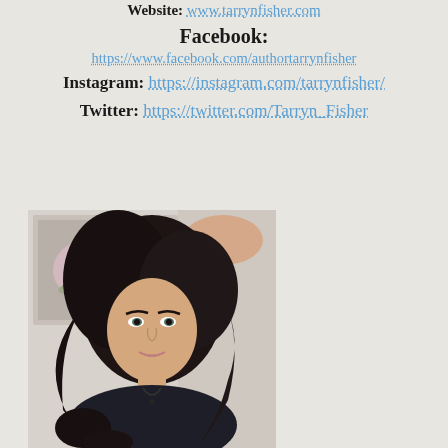Website: www.tarrynfisher.com
Facebook:
https://www.facebook.com/authortarrynfisher
Instagram: https://instagram.com/tarrynfisher/
Twitter: https://twitter.com/Tarryn_Fisher
[Figure (photo): Portrait photo of a woman with dark curly hair, wearing a dark top with a necklace, seated indoors with a framed rose painting visible in the background.]